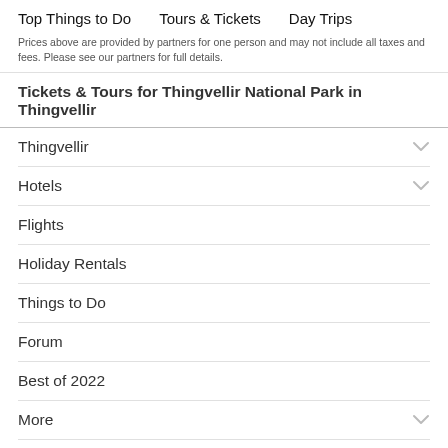Top Things to Do   Tours & Tickets   Day Trips
Prices above are provided by partners for one person and may not include all taxes and fees. Please see our partners for full details.
Tickets & Tours for Thingvellir National Park in Thingvellir
Thingvellir
Hotels
Flights
Holiday Rentals
Things to Do
Forum
Best of 2022
More